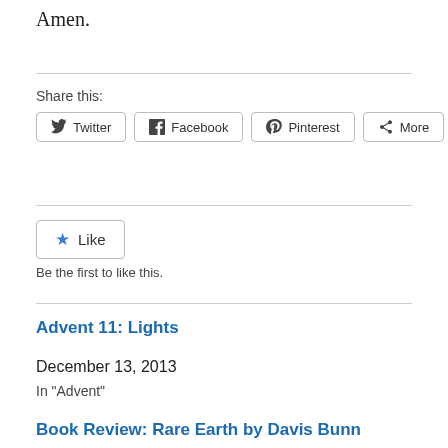Amen.
Share this:
[Figure (other): Social share buttons: Twitter, Facebook, Pinterest, More]
[Figure (other): Like button with star icon]
Be the first to like this.
Advent 11: Lights
December 13, 2013
In "Advent"
Book Review: Rare Earth by Davis Bunn